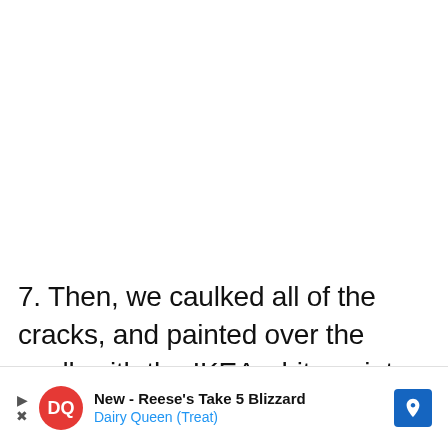7. Then, we caulked all of the cracks, and painted over the caulk with the IKEA white paint color once the caulk was dry to make it all look like one seamless built-in closet.
[Figure (screenshot): UI overlay with a like counter showing 258, a heart (favorite) button, and a search button on the right side of the screen.]
[Figure (infographic): Advertisement banner for Dairy Queen: 'New - Reese's Take 5 Blizzard' with DQ logo and blue navigation arrow.]